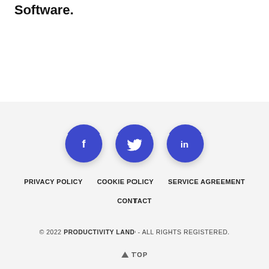Software.
[Figure (infographic): Three circular social media icon buttons: Facebook (f), Twitter (bird), LinkedIn (in), all in blue with drop shadows, centered horizontally]
PRIVACY POLICY   COOKIE POLICY   SERVICE AGREEMENT   CONTACT
© 2022 PRODUCTIVITY LAND - ALL RIGHTS REGISTERED.
▲ TOP